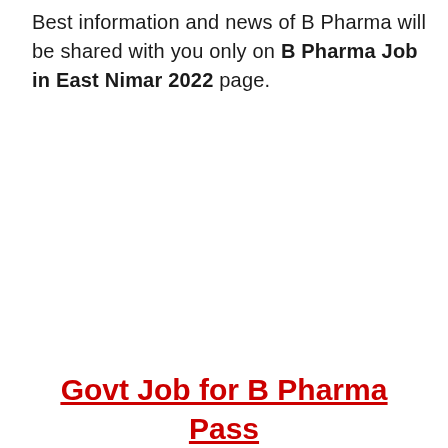Best information and news of B Pharma will be shared with you only on B Pharma Job in East Nimar 2022 page.
Govt Job for B Pharma Pass